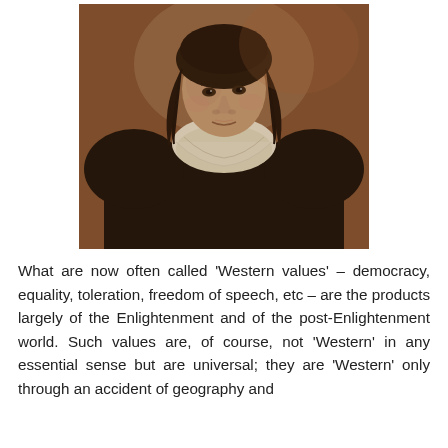[Figure (illustration): Painted portrait of a historical figure, likely from the 17th century. The subject wears dark robes with a large white collar. Background is warm brown/reddish tones. Style resembles Baroque portraiture.]
What are now often called 'Western values' – democracy, equality, toleration, freedom of speech, etc – are the products largely of the Enlightenment and of the post-Enlightenment world. Such values are, of course, not 'Western' in any essential sense but are universal; they are 'Western' only through an accident of geography and